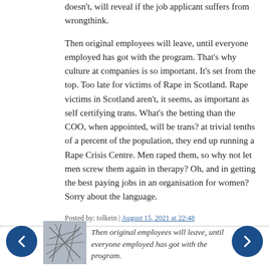doesn't, will reveal if the job applicant suffers from wrongthink.
Then original employees will leave, until everyone employed has got with the program. That's why culture at companies is so important. It's set from the top. Too late for victims of Rape in Scotland. Rape victims in Scotland aren't, it seems, as important as self certifying trans. What's the betting than the COO, when appointed, will be trans? at trivial tenths of a percent of the population, they end up running a Rape Crisis Centre. Men raped them, so why not let men screw them again in therapy? Oh, and in getting the best paying jobs in an organisation for women? Sorry about the language.
Posted by: tolkein | August 15, 2021 at 22:48
Then original employees will leave, until everyone employed has got with the program.